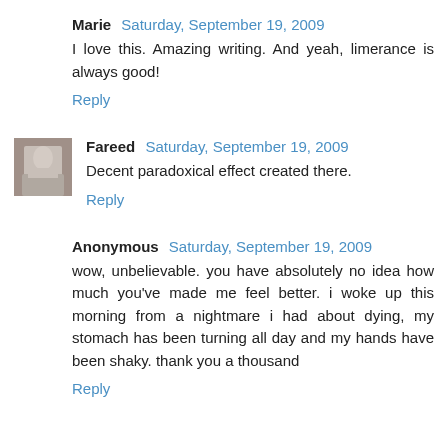Marie  Saturday, September 19, 2009
I love this. Amazing writing. And yeah, limerance is always good!
Reply
Fareed  Saturday, September 19, 2009
Decent paradoxical effect created there.
Reply
Anonymous  Saturday, September 19, 2009
wow, unbelievable. you have absolutely no idea how much you've made me feel better. i woke up this morning from a nightmare i had about dying, my stomach has been turning all day and my hands have been shaky. thank you a thousand
Reply